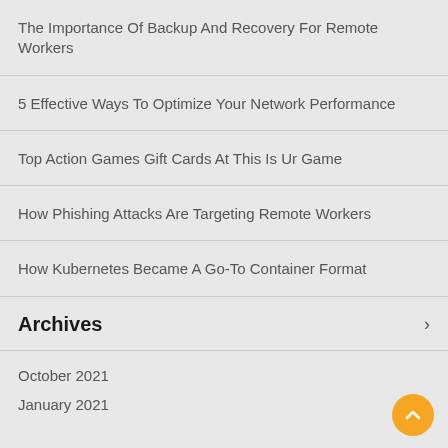The Importance Of Backup And Recovery For Remote Workers
5 Effective Ways To Optimize Your Network Performance
Top Action Games Gift Cards At This Is Ur Game
How Phishing Attacks Are Targeting Remote Workers
How Kubernetes Became A Go-To Container Format
Archives
October 2021
January 2021